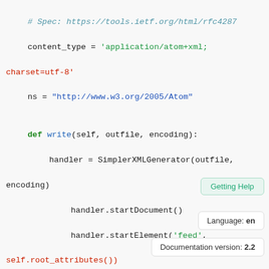[Figure (screenshot): Python source code snippet showing an Atom feed class with methods: write() and root_attributes(). Code uses syntax highlighting: keywords in bold green, strings in red/green/blue, comments in teal italic. Two tooltip overlays appear: 'Getting Help' and 'Language: en' / 'Documentation version: 2.2'.]